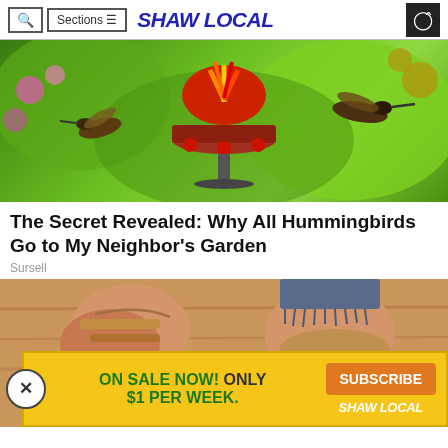Shaw Local — Sections navigation header
[Figure (photo): Colorful hummingbird feeder with two hummingbirds approaching from both sides, green bokeh background]
The Secret Revealed: Why All Hummingbirds Go to My Neighbor's Garden
Sursell
[Figure (photo): Close-up of feet wearing sandals/shoes with denim shorts, wooden background, with advertisement overlay: ON SALE NOW! ONLY $1 PER WEEK. SUBSCRIBE SHAW LOCAL]